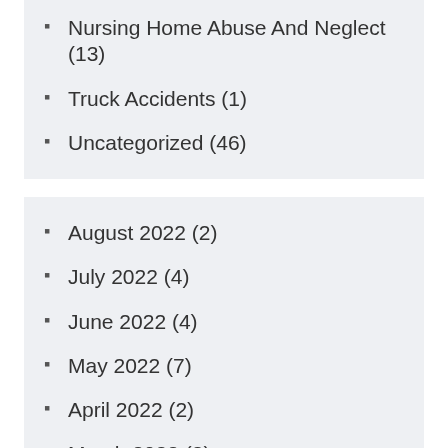Nursing Home Abuse And Neglect (13)
Truck Accidents (1)
Uncategorized (46)
August 2022 (2)
July 2022 (4)
June 2022 (4)
May 2022 (7)
April 2022 (2)
March 2022 (2)
February 2022 (2)